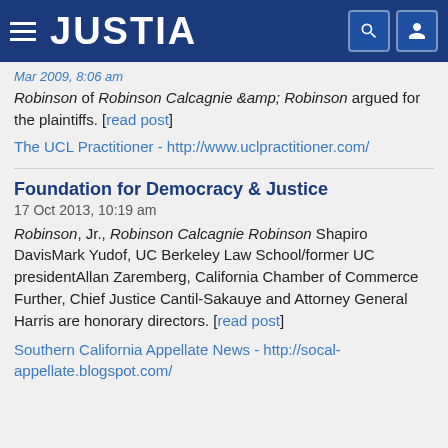JUSTIA
Mar 2009, 8:06 am
Robinson of Robinson Calcagnie &;amp; Robinson argued for the plaintiffs. [read post]
The UCL Practitioner - http://www.uclpractitioner.com/
Foundation for Democracy & Justice
17 Oct 2013, 10:19 am
Robinson, Jr., Robinson Calcagnie Robinson Shapiro DavisMark Yudof, UC Berkeley Law School/former UC presidentAllan Zaremberg, California Chamber of Commerce Further, Chief Justice Cantil-Sakauye and Attorney General Harris are honorary directors. [read post]
Southern California Appellate News - http://socal-appellate.blogspot.com/